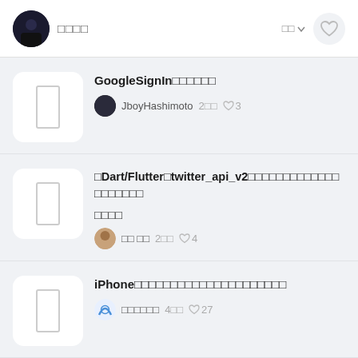□□□□  □□ ♡
GoogleSignIn□□□□□□  JboyHashimoto  2□□  ♡ 3
□Dart/Flutter□twitter_api_v2□□□□□□□□□□□□□□□□□□□□  □□ □□  2□□  ♡ 4
iPhone□□□□□□□□□□□□□□□□□□□□□  □□□□□□  4□□  ♡ 27
Flutter□AppleSign□□□□□□  Jboy Hashimoto